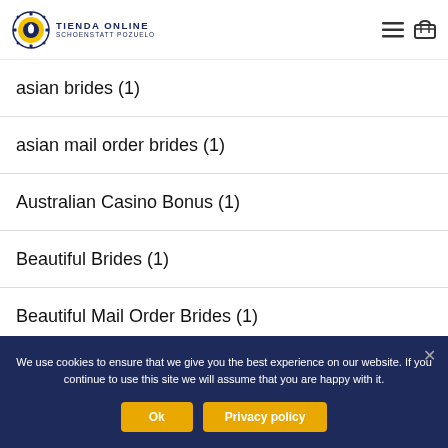[Figure (logo): Tienda Online Schoenstatt Pozuelo logo with circular emblem]
asian brides (1)
asian mail order brides (1)
Australian Casino Bonus (1)
Beautiful Brides (1)
Beautiful Mail Order Brides (1)
Beautiful Women Online (1)
best asian dating sites (1)
We use cookies to ensure that we give you the best experience on our website. If you continue to use this site we will assume that you are happy with it.